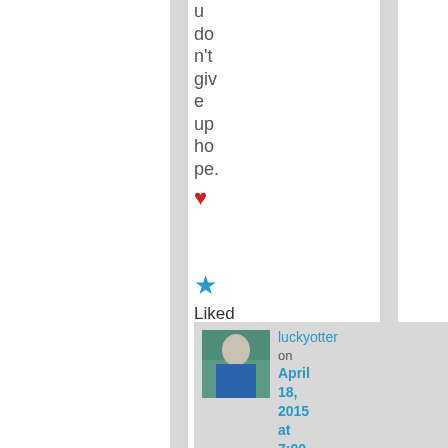u don't give up hope. ❤
[Figure (other): Blue star icon (liked/favorite button)]
Liked
[Figure (photo): Small avatar photo of a person in a blue shirt outdoors]
luckyotter on April 18, 2015 at 7:00 am said: